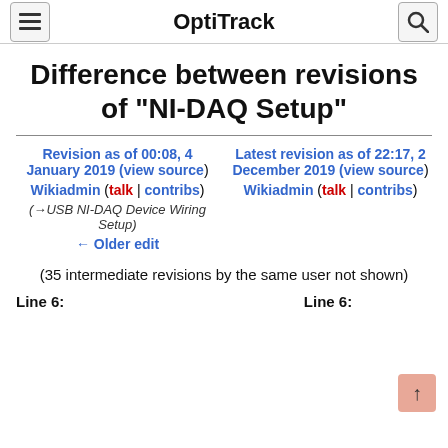OptiTrack
Difference between revisions of "NI-DAQ Setup"
Revision as of 00:08, 4 January 2019 (view source)
Wikiadmin (talk | contribs)
(→USB NI-DAQ Device Wiring Setup)
← Older edit
Latest revision as of 22:17, 2 December 2019 (view source)
Wikiadmin (talk | contribs)
(35 intermediate revisions by the same user not shown)
Line 6:
Line 6: